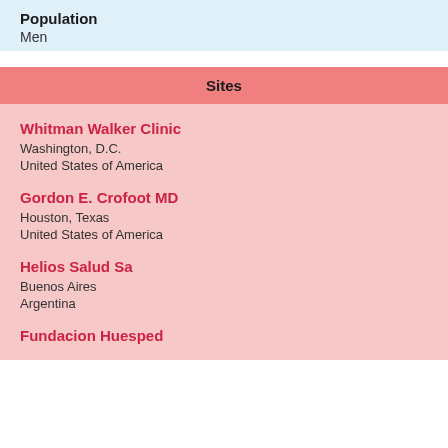Population
Men
Sites
Whitman Walker Clinic
Washington, D.C.
United States of America
Gordon E. Crofoot MD
Houston, Texas
United States of America
Helios Salud Sa
Buenos Aires
Argentina
Fundacion Huesped